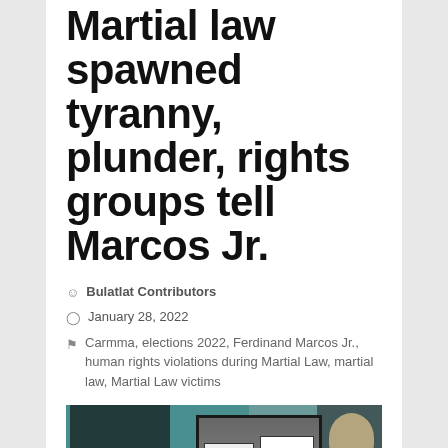Martial law spawned tyranny, plunder, rights groups tell Marcos Jr.
Bulatlat Contributors
January 28, 2022
Carmma, elections 2022, Ferdinand Marcos Jr., human rights violations during Martial Law, martial law, Martial Law victims
[Figure (photo): Composite photo showing multiple images: a silhouetted figure on the left against a teal background, an inset framed photo of Ferdinand Marcos Jr., a center framed photo of protesters holding 'Marcos No Hero' signs, and an older man on the right side.]